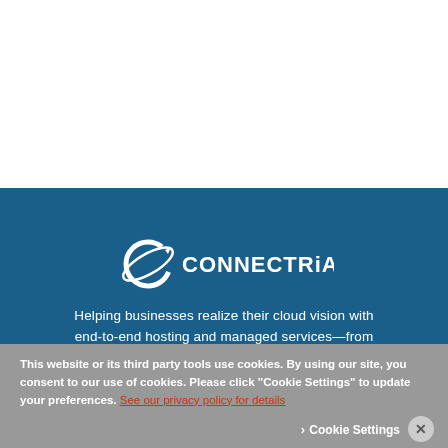[Figure (logo): Connectria company logo — stylized C with orbit ring followed by CONNECTRiA wordmark in white on dark blue background]
Helping businesses realize their cloud vision with end-to-end hosting and managed services—from IBM i to AWS. Backed by industry leading SLAs
This website or its third party tools use cookies. By using our site, you consent to our use of cookies. Please click "Cookie Settings" to update your preferences. See our privacy policy for details